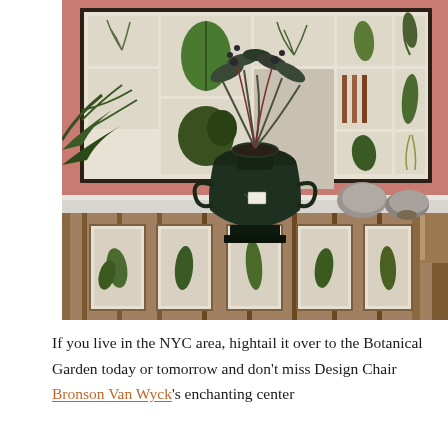[Figure (photo): Interior decorating scene: a marble-topped console table against a pink/salmon wall, with a large framed botanical print collage behind it. A dark cast-iron urn/vase with branches and leaves sits on the table, flanked by stone objects. Below the marble top is a rustic wooden shelf displaying framed botanical prints of ferns.]
If you live in the NYC area, hightail it over to the Botanical Garden today or tomorrow and don't miss Design Chair Bronson Van Wyck's enchanting center